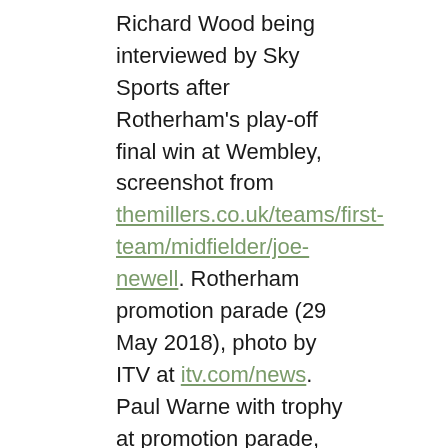Richard Wood being interviewed by Sky Sports after Rotherham's play-off final win at Wembley, screenshot from themillers.co.uk/teams/first-team/midfielder/joe-newell. Rotherham promotion parade (29 May 2018), photo by ITV at itv.com/news. Paul Warne with trophy at promotion parade, photo by Richard Sellars/PA Images via Getty Images at gettyimages.com.